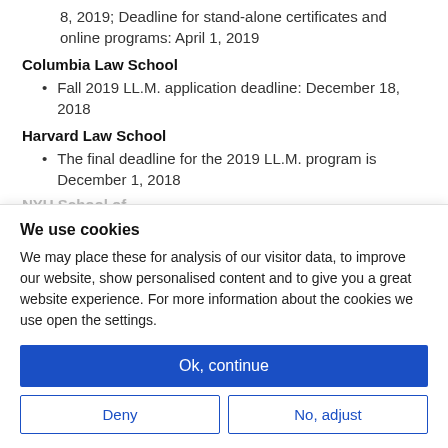8, 2019; Deadline for stand-alone certificates and online programs: April 1, 2019
Columbia Law School
Fall 2019 LL.M. application deadline: December 18, 2018
Harvard Law School
The final deadline for the 2019 LL.M. program is December 1, 2018
NYU School of...
We use cookies
We may place these for analysis of our visitor data, to improve our website, show personalised content and to give you a great website experience. For more information about the cookies we use open the settings.
Ok, continue
Deny
No, adjust